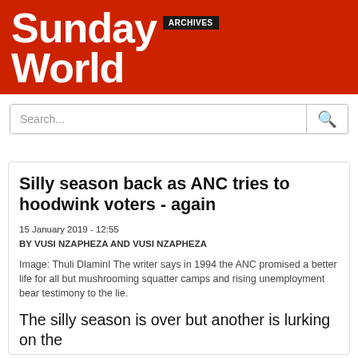Sunday World ARCHIVES
Search...
Silly season back as ANC tries to hoodwink voters - again
15 January 2019 - 12:55
BY VUSI NZAPHEZA AND VUSI NZAPHEZA
Image: Thuli DlaminI The writer says in 1994 the ANC promised a better life for all but mushrooming squatter camps and rising unemployment bear testimony to the lie.
The silly season is over but another is lurking on the